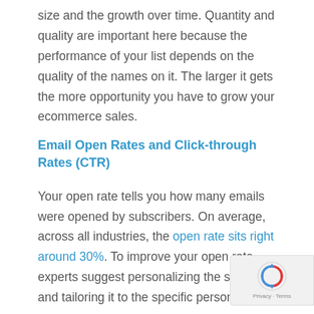size and the growth over time. Quantity and quality are important here because the performance of your list depends on the quality of the names on it. The larger it gets the more opportunity you have to grow your ecommerce sales.
Email Open Rates and Click-through Rates (CTR)
Your open rate tells you how many emails were opened by subscribers. On average, across all industries, the open rate sits right around 30%. To improve your open rate experts suggest personalizing the subject line and tailoring it to the specific person.
The click-through rate is the percentage of people